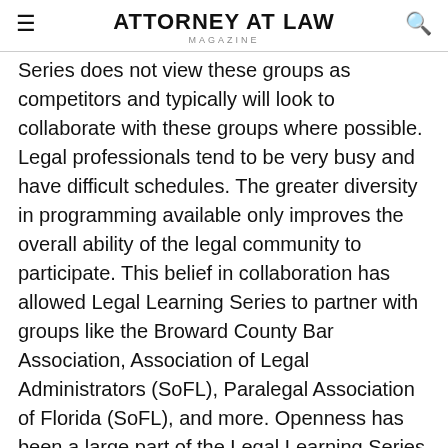ATTORNEY AT LAW MAGAZINE
Series does not view these groups as competitors and typically will look to collaborate with these groups where possible. Legal professionals tend to be very busy and have difficult schedules. The greater diversity in programming available only improves the overall ability of the legal community to participate. This belief in collaboration has allowed Legal Learning Series to partner with groups like the Broward County Bar Association, Association of Legal Administrators (SoFL), Paralegal Association of Florida (SoFL), and more. Openness has been a large part of the Legal Learning Series success